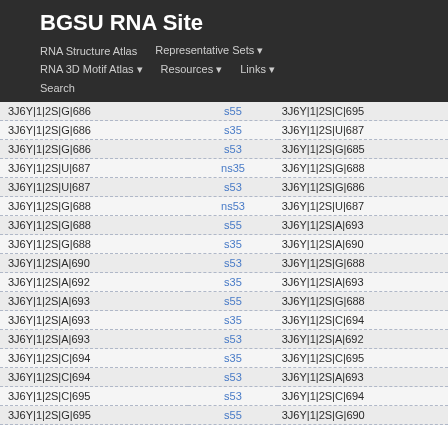BGSU RNA Site
RNA Structure Atlas | Representative Sets ▾ | RNA 3D Motif Atlas ▾ | Resources ▾ | Links ▾ | Search
| Left | Middle | Right |
| --- | --- | --- |
| 3J6Y|1|2S|G|686 | s55 | 3J6Y|1|2S|C|695 |
| 3J6Y|1|2S|G|686 | s35 | 3J6Y|1|2S|U|687 |
| 3J6Y|1|2S|G|686 | s53 | 3J6Y|1|2S|G|685 |
| 3J6Y|1|2S|U|687 | ns35 | 3J6Y|1|2S|G|688 |
| 3J6Y|1|2S|U|687 | s53 | 3J6Y|1|2S|G|686 |
| 3J6Y|1|2S|G|688 | ns53 | 3J6Y|1|2S|U|687 |
| 3J6Y|1|2S|G|688 | s55 | 3J6Y|1|2S|A|693 |
| 3J6Y|1|2S|G|688 | s35 | 3J6Y|1|2S|A|690 |
| 3J6Y|1|2S|A|690 | s53 | 3J6Y|1|2S|G|688 |
| 3J6Y|1|2S|A|692 | s35 | 3J6Y|1|2S|A|693 |
| 3J6Y|1|2S|A|693 | s55 | 3J6Y|1|2S|G|688 |
| 3J6Y|1|2S|A|693 | s35 | 3J6Y|1|2S|C|694 |
| 3J6Y|1|2S|A|693 | s53 | 3J6Y|1|2S|A|692 |
| 3J6Y|1|2S|C|694 | s35 | 3J6Y|1|2S|C|695 |
| 3J6Y|1|2S|C|694 | s53 | 3J6Y|1|2S|A|693 |
| 3J6Y|1|2S|C|695 | s53 | 3J6Y|1|2S|C|694 |
| 3J6Y|1|2S|G|695 | s55 | 3J6Y|1|2S|G|690 |